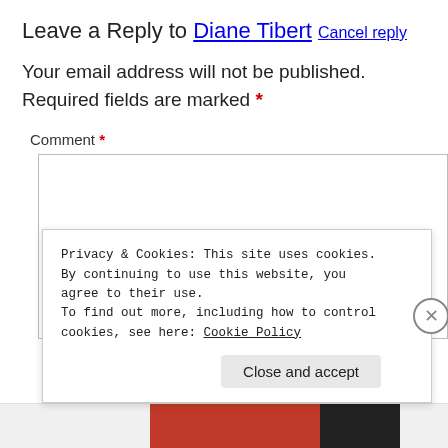Leave a Reply to Diane Tibert Cancel reply
Your email address will not be published. Required fields are marked *
Comment *
Privacy & Cookies: This site uses cookies. By continuing to use this website, you agree to their use. To find out more, including how to control cookies, see here: Cookie Policy
Close and accept